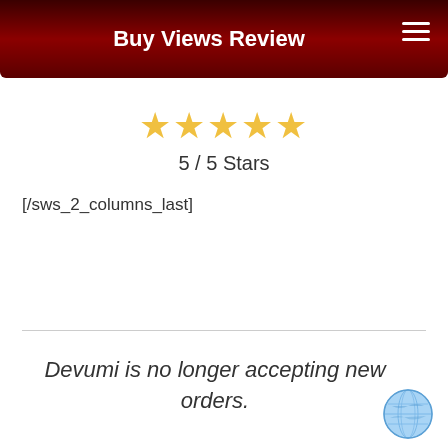Buy Views Review
[Figure (other): 5 gold stars rating]
5 / 5 Stars
[/sws_2_columns_last]
Devumi is no longer accepting new orders.